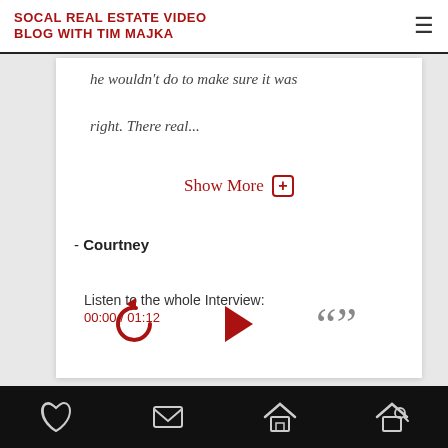SOCAL REAL ESTATE VIDEO BLOG WITH TIM MAJKA
he wouldn't do to make sure it was right. There real...
Show More ⊞
- Courtney
Listen to the whole Interview:
00:00 / 01:12
[Figure (other): Audio player controls: rewind button (red circular arrow), play button (red triangle), quote/transcript button (gray double quotation marks)]
Footer navigation bar with phone, email, home, and search icons